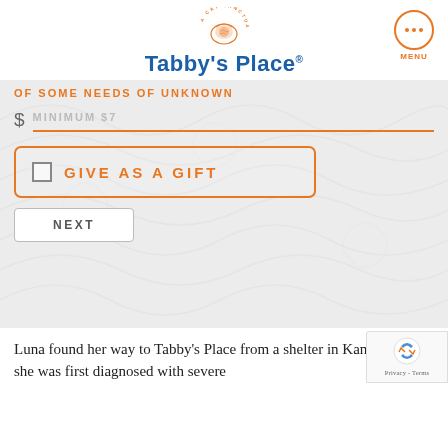[Figure (logo): Tabby's Place cat sanctuary logo with orange cat illustration and circular text 'A CAT SANCTUARY', blue bold text 'Tabby's Place' with registered trademark symbol]
[Figure (other): Orange circular MENU button with three dots]
of some needs of unknown
[Figure (screenshot): Donation form with dollar amount input showing 'MINIMUM $7' placeholder, a 'GIVE AS A GIFT' checkbox option in orange border box, and a NEXT button]
Luna found her way to Tabby's Place from a shelter in Kansas, where she was first diagnosed with severe